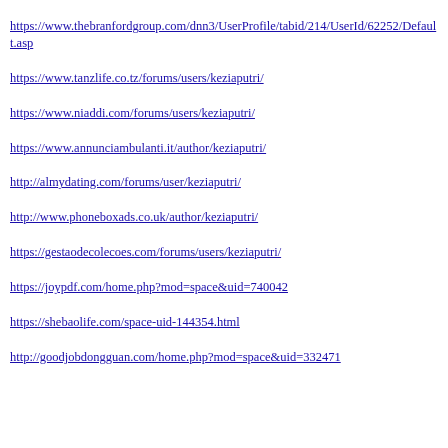https://www.thebranfordgroup.com/dnn3/UserProfile/tabid/214/UserId/62252/Default.asp
https://www.tanzlife.co.tz/forums/users/keziaputri/
https://www.niaddi.com/forums/users/keziaputri/
https://www.annunciambulanti.it/author/keziaputri/
http://almydating.com/forums/user/keziaputri/
http://www.phoneboxads.co.uk/author/keziaputri/
https://gestaodecolecoes.com/forums/users/keziaputri/
https://joypdf.com/home.php?mod=space&uid=740042
https://shebaolife.com/space-uid-144354.html
http://goodjobdongguan.com/home.php?mod=space&uid=332471